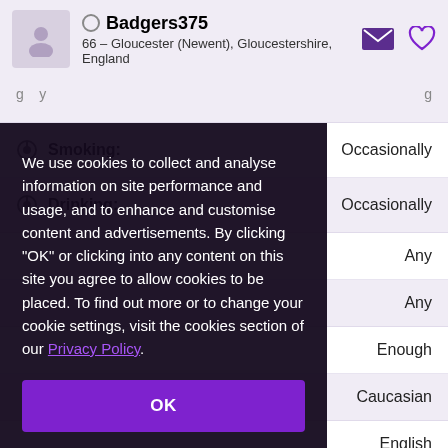Badgers375 — 66 – Gloucester (Newent), Gloucestershire, England
Smoking: Occasionally
Drinking: Occasionally
Any
Any
Enough
Caucasian
English
We use cookies to collect and analyse information on site performance and usage, and to enhance and customise content and advertisements. By clicking "OK" or clicking into any content on this site you agree to allow cookies to be placed. To find out more or to change your cookie settings, visit the cookies section of our Privacy Policy.